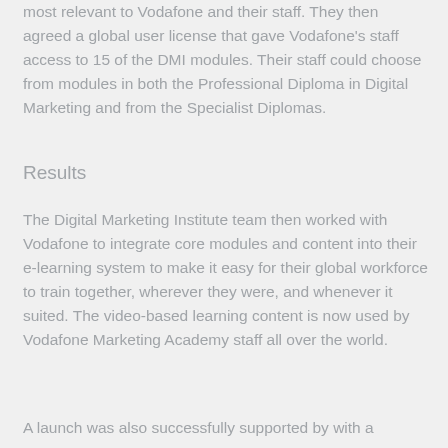most relevant to Vodafone and their staff. They then agreed a global user license that gave Vodafone's staff access to 15 of the DMI modules. Their staff could choose from modules in both the Professional Diploma in Digital Marketing and from the Specialist Diplomas.
Results
The Digital Marketing Institute team then worked with Vodafone to integrate core modules and content into their e-learning system to make it easy for their global workforce to train together, wherever they were, and whenever it suited. The video-based learning content is now used by Vodafone Marketing Academy staff all over the world.
A launch was also successfully supported by with a